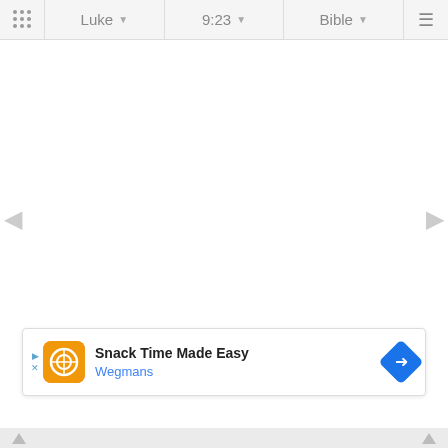Luke | 9:23 | Bible
[Figure (screenshot): Bible app navigation bar with book selector showing Luke, chapter 9:23, and Bible version dropdown, plus grid/menu icons]
[Figure (screenshot): White main content area with left and right navigation arrows on sides, and an advertisement banner at the bottom showing Snack Time Made Easy by Wegmans with close button]